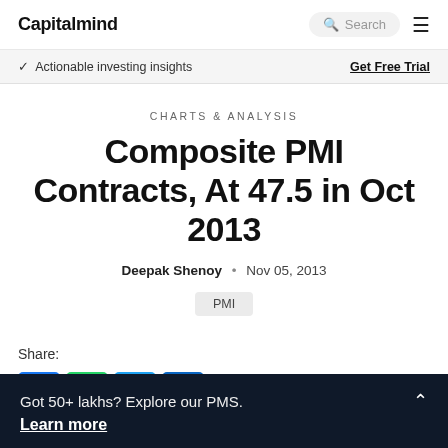Capitalmind
Actionable investing insights
Get Free Trial
CHARTS & ANALYSIS
Composite PMI Contracts, At 47.5 in Oct 2013
Deepak Shenoy · Nov 05, 2013
PMI
Share:
Got 50+ lakhs? Explore our PMS.
Learn more